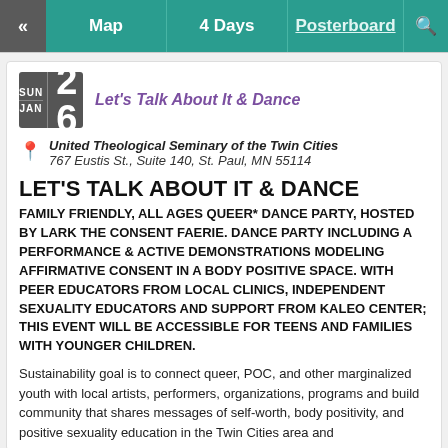« Map | 4 Days | Posterboard | 🔍
SUN JAN 26 — Let's Talk About It & Dance
United Theological Seminary of the Twin Cities
767 Eustis St., Suite 140, St. Paul, MN 55114
LET'S TALK ABOUT IT & DANCE
FAMILY FRIENDLY, ALL AGES QUEER* DANCE PARTY, HOSTED BY LARK THE CONSENT FAERIE. DANCE PARTY INCLUDING A PERFORMANCE & ACTIVE DEMONSTRATIONS MODELING AFFIRMATIVE CONSENT IN A BODY POSITIVE SPACE. WITH PEER EDUCATORS FROM LOCAL CLINICS, INDEPENDENT SEXUALITY EDUCATORS AND SUPPORT FROM KALEO CENTER; THIS EVENT WILL BE ACCESSIBLE FOR TEENS AND FAMILIES WITH YOUNGER CHILDREN.
Sustainability goal is to connect queer, POC, and other marginalized youth with local artists, performers, organizations, programs and build community that shares messages of self-worth, body positivity, and positive sexuality education in the Twin Cities area and beyond.